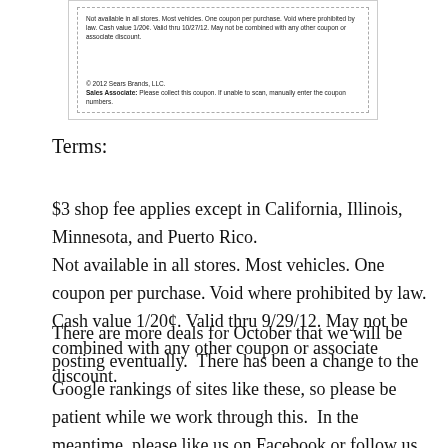[Figure (other): Coupon image showing fine print text: not available in all stores, most vehicles, one coupon per purchase, void where prohibited by law, cash value 1/20¢, valid thru 10/27/12, may not be combined with any other coupon or associate discount. © 2012 Sears Brands, LLC. Sales Associate: Please collect this coupon. If unable to scan, manually enter the coupon numbers.]
Terms:
$3 shop fee applies except in California, Illinois, Minnesota, and Puerto Rico. Not available in all stores. Most vehicles. One coupon per purchase. Void where prohibited by law. Cash value 1/20¢. Valid thru 9/29/12. May not be combined with any other coupon or associate discount.
There are more deals for October that we will be posting eventually.  There has been a change to the Google rankings of sites like these, so please be patient while we work through this.  In the meantime, please like us on Facebook or follow us on Twitter to see more updates and help us drive enough traffic to make it worth running this site and updating it with discounts for